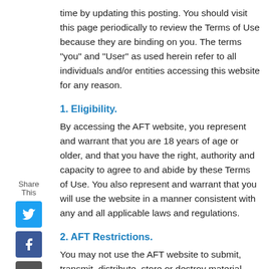time by updating this posting. You should visit this page periodically to review the Terms of Use because they are binding on you. The terms "you" and "User" as used herein refer to all individuals and/or entities accessing this website for any reason.
1. Eligibility.
By accessing the AFT website, you represent and warrant that you are 18 years of age or older, and that you have the right, authority and capacity to agree to and abide by these Terms of Use. You also represent and warrant that you will use the website in a manner consistent with any and all applicable laws and regulations.
2. AFT Restrictions.
You may not use the AFT website to submit, transmit, distribute, store or destroy material, including, without limitation, this website's content (a) in violation of any applicable law or regulation;